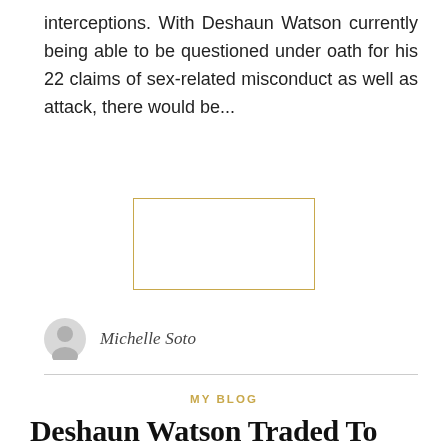interceptions. With Deshaun Watson currently being able to be questioned under oath for his 22 claims of sex-related misconduct as well as attack, there would be...
[Figure (other): Advertisement placeholder box with gold/tan border, empty white rectangle]
Michelle Soto
MY BLOG
Deshaun Watson Traded To Browns; Qb Faces 22^ Sexual Misbehavior Civil Fits, Feasible Nfl Self-